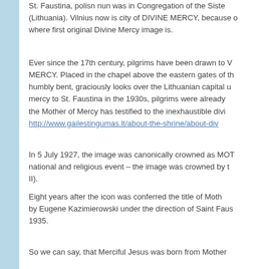St. Faustina, polisn nun was in Congregation of the Sisters (Lithuania). Vilnius now is city of DIVINE MERCY, because o where first original Divine Mercy image is.
Ever since the 17th century, pilgrims have been drawn to MERCY. Placed in the chapel above the eastern gates of th humbly bent, graciously looks over the Lithuanian capital u mercy to St. Faustina in the 1930s, pilgrims were already the Mother of Mercy has testified to the inexhaustible divi http://www.gailestingumas.lt/about-the-shrine/about-div
In 5 July 1927, the image was canonically crowned as MOT national and religious event – the image was crowned by t II).
Eight years after the icon was conferred the title of Moth by Eugene Kazimierowski under the direction of Saint Faus 1935.
So we can say, that Merciful Jesus was born from Mother